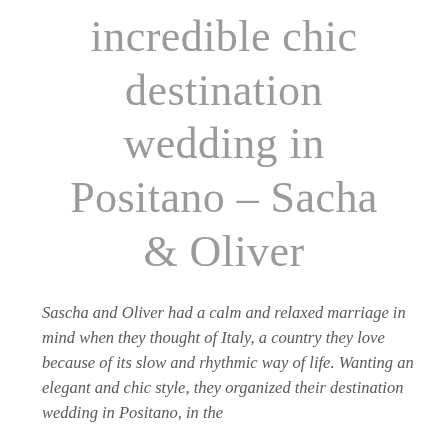incredible chic destination wedding in Positano – Sacha & Oliver
Sascha and Oliver had a calm and relaxed marriage in mind when they thought of Italy, a country they love  because of its slow and rhythmic way of life. Wanting an elegant and chic style, they organized their destination wedding in Positano, in the...